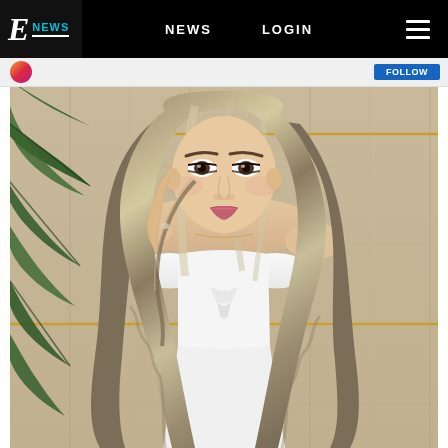E! NEWS  NEWS  LOGIN
[Figure (photo): E! News website screenshot showing navigation bar with E! News logo, NEWS and LOGIN links, hamburger menu, and a large photo of a young woman with long wavy blonde-highlighted hair wearing a white tied crop top, posing in front of a wood-paneled wall with tropical plant leaves visible on the left side]